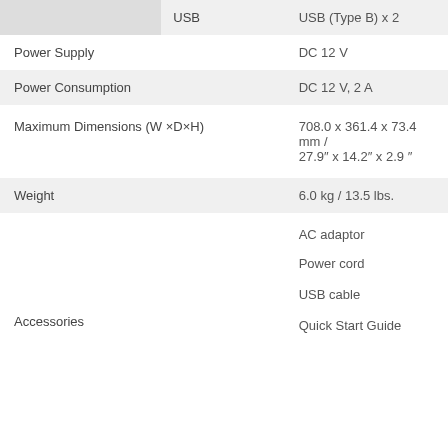|  | USB | USB (Type B) x 2 |
| Power Supply |  | DC 12 V |
| Power Consumption |  | DC 12 V, 2 A |
| Maximum Dimensions (W ×D×H) |  | 708.0 x 361.4 x 73.4 mm / 27.9″ x 14.2″ x 2.9 ″ |
| Weight |  | 6.0 kg / 13.5 lbs. |
| Accessories |  | AC adaptor
Power cord
USB cable
Quick Start Guide |